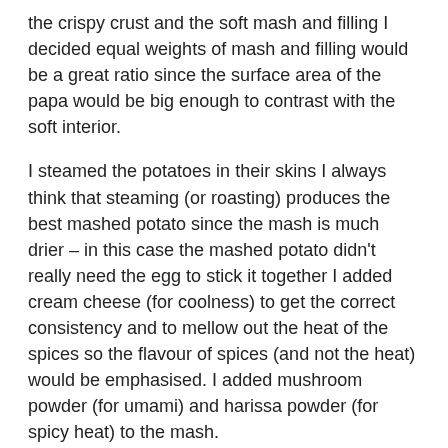the crispy crust and the soft mash and filling I decided equal weights of mash and filling would be a great ratio since the surface area of the papa would be big enough to contrast with the soft interior.
I steamed the potatoes in their skins I always think that steaming (or roasting) produces the best mashed potato since the mash is much drier – in this case the mashed potato didn't really need the egg to stick it together I added cream cheese (for coolness) to get the correct consistency and to mellow out the heat of the spices so the flavour of spices (and not the heat) would be emphasised. I added mushroom powder (for umami) and harissa powder (for spicy heat) to the mash.
I cooked the sausage meat (for umami) until browned and added the other filling ingredients; mushroom powder and seaweed paste (for umami), prunes and orange marmalade (for sweet), rice vinegar (for sour), preserved lemon and olives (for salty), spices (for heat), bitter cocoa chocolate (for bitter) and perilla leaves (for freshness). I decided to double the amount of filling as compared to the original challenge